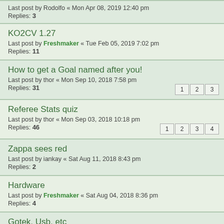Last post by Rodolfo « Mon Apr 08, 2019 12:40 pm
Replies: 3
KO2CV 1.27
Last post by Freshmaker « Tue Feb 05, 2019 7:02 pm
Replies: 11
How to get a Goal named after you!
Last post by thor « Mon Sep 10, 2018 7:58 pm
Replies: 31
Referee Stats quiz
Last post by thor « Mon Sep 03, 2018 10:18 pm
Replies: 46
Zappa sees red
Last post by iankay « Sat Aug 11, 2018 8:43 pm
Replies: 2
Hardware
Last post by Freshmaker « Sat Aug 04, 2018 8:36 pm
Replies: 4
Gotek, Usb, etc
Last post by Freshmaker « Sat Mar 10, 2018 9:34 pm
Replies: 8